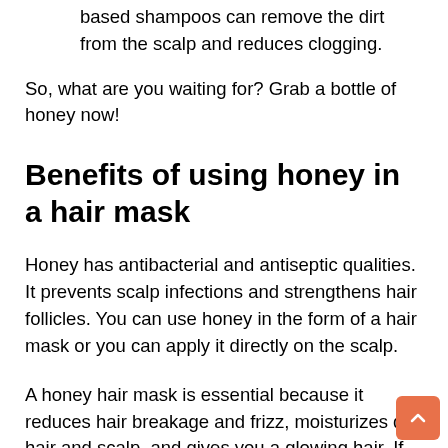based shampoos can remove the dirt from the scalp and reduces clogging.
So, what are you waiting for? Grab a bottle of honey now!
Benefits of using honey in a hair mask
Honey has antibacterial and antiseptic qualities. It prevents scalp infections and strengthens hair follicles. You can use honey in the form of a hair mask or you can apply it directly on the scalp.
A honey hair mask is essential because it reduces hair breakage and frizz, moisturizes dry hair and scalp, and gives you a glowing hair. If